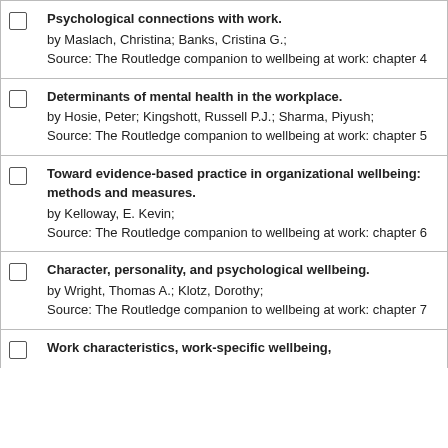Psychological connections with work. by Maslach, Christina; Banks, Cristina G.; Source: The Routledge companion to wellbeing at work: chapter 4
Determinants of mental health in the workplace. by Hosie, Peter; Kingshott, Russell P.J.; Sharma, Piyush; Source: The Routledge companion to wellbeing at work: chapter 5
Toward evidence-based practice in organizational wellbeing: methods and measures. by Kelloway, E. Kevin; Source: The Routledge companion to wellbeing at work: chapter 6
Character, personality, and psychological wellbeing. by Wright, Thomas A.; Klotz, Dorothy; Source: The Routledge companion to wellbeing at work: chapter 7
Work characteristics, work-specific wellbeing,